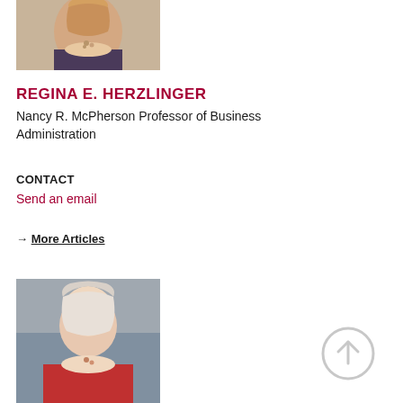[Figure (photo): Portrait photo of Regina E. Herzlinger, a woman with blonde hair smiling, wearing a patterned top and necklace]
REGINA E. HERZLINGER
Nancy R. McPherson Professor of Business Administration
CONTACT
Send an email
→ More Articles
[Figure (photo): Portrait photo of a woman with short white/blonde hair, wearing a red jacket, resting her chin on her hand]
[Figure (illustration): Gray circular upward arrow icon for scroll to top]